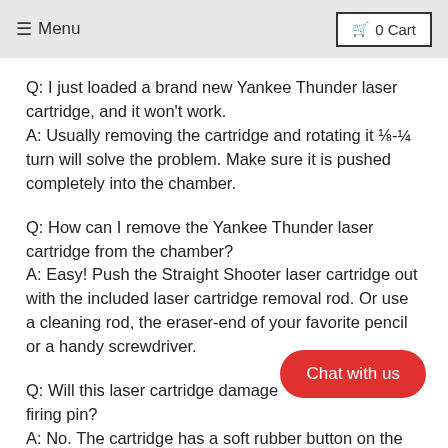≡ Menu  🛒 0 Cart
Q: I just loaded a brand new Yankee Thunder laser cartridge, and it won't work.
A: Usually removing the cartridge and rotating it ⅛-¼ turn will solve the problem. Make sure it is pushed completely into the chamber.
Q: How can I remove the Yankee Thunder laser cartridge from the chamber?
A: Easy! Push the Straight Shooter laser cartridge out with the included laser cartridge removal rod. Or use a cleaning rod, the eraser-end of your favorite pencil or a handy screwdriver.
Q: Will this laser cartridge damage my firing pin?
A: No. The cartridge has a soft rubber button on the